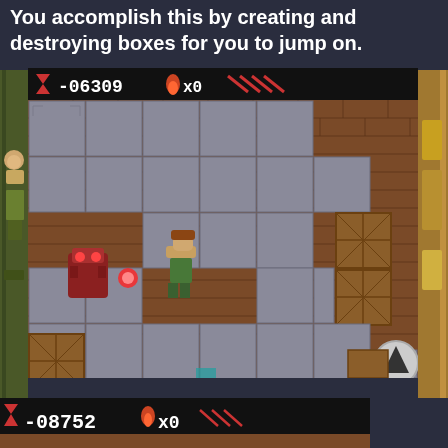You accomplish this by creating and destroying boxes for you to jump on.
[Figure (screenshot): Retro pixel-art video game screenshot showing a platformer level with grey stone blocks, brown brick background, a red monster enemy on the left, a player character in the center, and wooden crates on the right side. HUD shows score -06309 and x0 lives with weapon indicators. Navigation arrow button visible bottom-right.]
[Figure (screenshot): Bottom portion of another game screen showing HUD with score -08752, flame icon, x0 lives, and weapon indicators on black background, with top of a similar platformer level visible.]